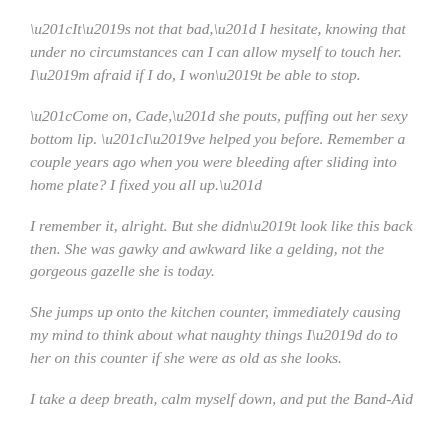“It’s not that bad,” I hesitate, knowing that under no circumstances can I can allow myself to touch her. I’m afraid if I do, I won’t be able to stop.
“Come on, Cade,” she pouts, puffing out her sexy bottom lip. “I’ve helped you before. Remember a couple years ago when you were bleeding after sliding into home plate? I fixed you all up.”
I remember it, alright. But she didn’t look like this back then. She was gawky and awkward like a gelding, not the gorgeous gazelle she is today.
She jumps up onto the kitchen counter, immediately causing my mind to think about what naughty things I’d do to her on this counter if she were as old as she looks.
I take a deep breath, calm myself down, and put the Band-Aid